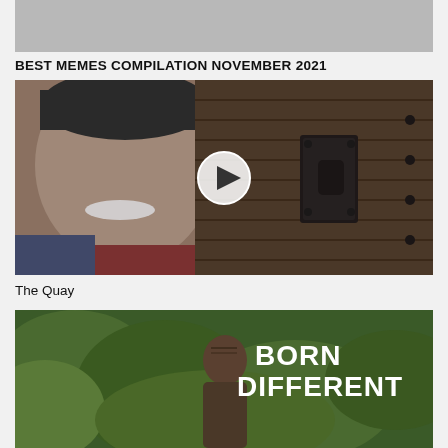[Figure (screenshot): Partial video thumbnail at top, gray/cropped]
BEST MEMES COMPILATION NOVEMBER 2021
[Figure (screenshot): Video thumbnail showing older man with white mustache and knit cap on left, rustic wooden wall with iron lock hardware on right, white circular play button overlay in center]
The Quay
[Figure (screenshot): Video thumbnail showing man outdoors with green vegetation background and bold white text 'BORN DIFFERENT' on right side]